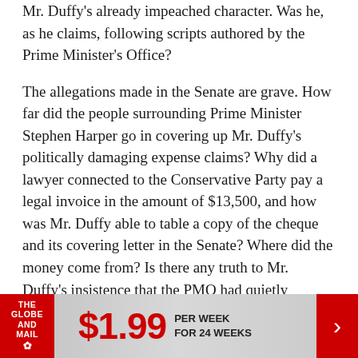Mr. Duffy's already impeached character. Was he, as he claims, following scripts authored by the Prime Minister's Office?
The allegations made in the Senate are grave. How far did the people surrounding Prime Minister Stephen Harper go in covering up Mr. Duffy's politically damaging expense claims? Why did a lawyer connected to the Conservative Party pay a legal invoice in the amount of $13,500, and how was Mr. Duffy able to table a copy of the cheque and its covering letter in the Senate? Where did the money come from? Is there any truth to Mr. Duffy's insistence that the PMO had quietly condoned the housing expenses Mr. Harper has unequivocally
[Figure (infographic): The Globe and Mail advertisement banner: red logo on left, '$1.99 PER WEEK FOR 24 WEEKS' text in center, red arrow button on right]